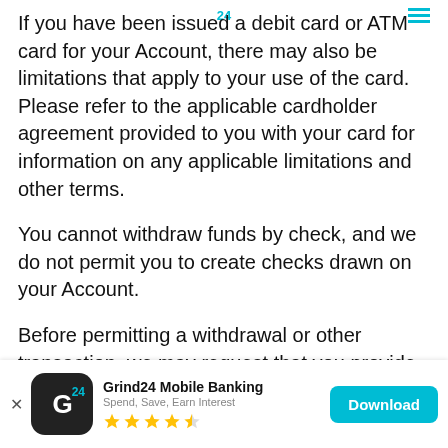If you have been issued a debit card or ATM card for your Account, there may also be limitations that apply to your use of the card. Please refer to the applicable cardholder agreement provided to you with your card for information on any applicable limitations and other terms.
You cannot withdraw funds by check, and we do not permit you to create checks drawn on your Account.
Before permitting a withdrawal or other transaction, we may request that you provide us with additional information or documentation that we deem necessary to confirm your identity or to prevent illegal activity. We may refuse the transaction if you do not comply with our request